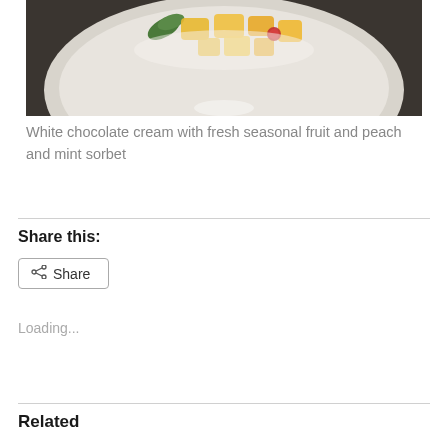[Figure (photo): A white plate with fresh fruit pieces (yellow/orange chunks, possibly mango or peach) and a red berry, with a green mint leaf, photographed in dim lighting from above.]
White chocolate cream with fresh seasonal fruit and peach and mint sorbet
Share this:
Share
Loading...
Related